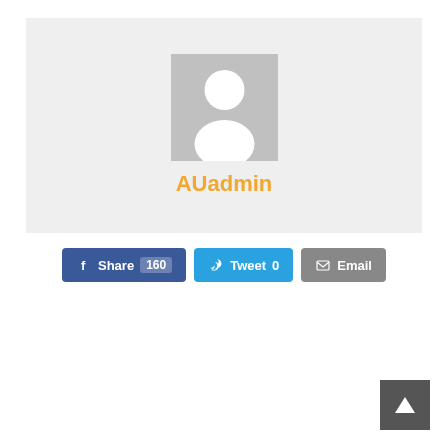[Figure (illustration): User profile card with grey background, default avatar (white silhouette on grey square), and username AUadmin in orange text]
AUadmin
[Figure (infographic): Social share buttons: Facebook Share 160, Twitter Tweet 0, Email]
[Figure (other): Back to top button, dark grey square with white upward arrow]